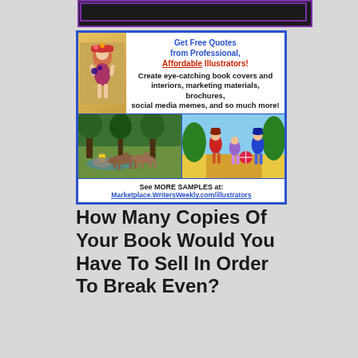[Figure (illustration): Top banner strip with purple border on dark background]
[Figure (illustration): Advertisement box with blue border. Header: 'Get Free Quotes from Professional, Affordable Illustrators!' with text 'Create eye-catching book covers and interiors, marketing materials, brochures, social media memes, and so much more!' Two illustration sample images below (forest scene with dogs, Wizard of Oz style children). Footer: 'See MORE SAMPLES at: Marketplace.WritersWeekly.com/illustrators']
How Many Copies Of Your Book Would You Have To Sell In Order To Break Even?